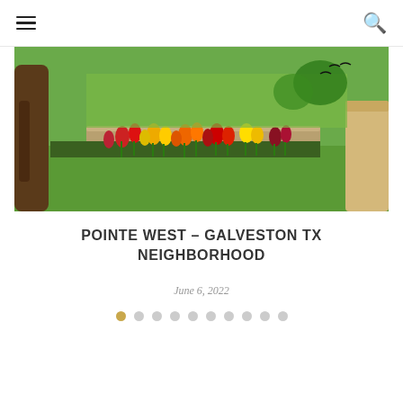hamburger menu | search icon
[Figure (photo): Garden scene with colorful tulips (red, yellow, orange) in bloom along a stone-edged planter bed, green lawn, trees, and stone architecture in the background.]
POINTE WEST – GALVESTON TX NEIGHBORHOOD
June 6, 2022